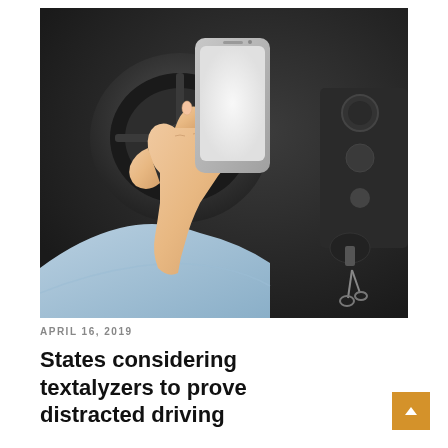[Figure (photo): A person sitting in a car holding a smartphone with a blank white screen, with a steering wheel visible in the background and car keys in the ignition.]
APRIL 16, 2019
States considering textalyzers to prove distracted driving